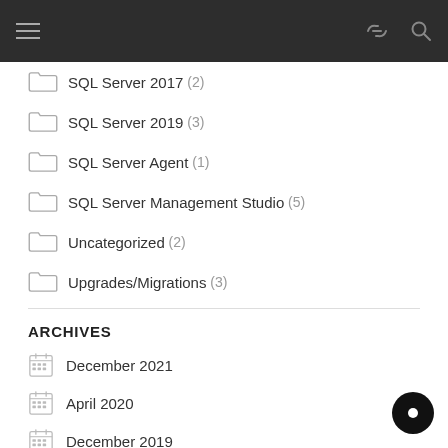navigation bar with hamburger menu and icons
SQL Server 2017 (2)
SQL Server 2019 (3)
SQL Server Agent (1)
SQL Server Management Studio (5)
Uncategorized (2)
Upgrades/Migrations (3)
ARCHIVES
December 2021
April 2020
December 2019
November 2019
August 2019
April 2019